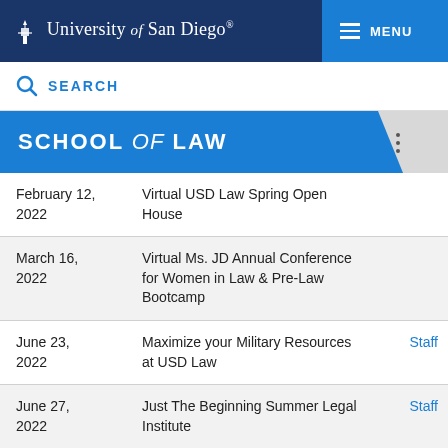University of San Diego — MENU
SEARCH
SCHOOL of LAW
| Date | Event | Audience |
| --- | --- | --- |
| February 12, 2022 | Virtual USD Law Spring Open House |  |
| March 16, 2022 | Virtual Ms. JD Annual Conference for Women in Law & Pre-Law Bootcamp |  |
| June 23, 2022 | Maximize your Military Resources at USD Law | Staff |
| June 27, 2022 | Just The Beginning Summer Legal Institute | Staff |